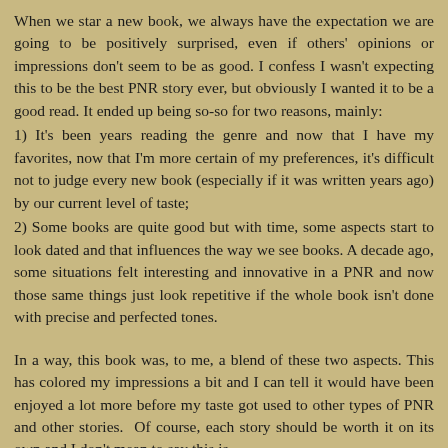When we star a new book, we always have the expectation we are going to be positively surprised, even if others' opinions or impressions don't seem to be as good. I confess I wasn't expecting this to be the best PNR story ever, but obviously I wanted it to be a good read. It ended up being so-so for two reasons, mainly:
1) It's been years reading the genre and now that I have my favorites, now that I'm more certain of my preferences, it's difficult not to judge every new book (especially if it was written years ago) by our current level of taste;
2) Some books are quite good but with time, some aspects start to look dated and that influences the way we see books. A decade ago, some situations felt interesting and innovative in a PNR and now those same things just look repetitive if the whole book isn't done with precise and perfected tones.
In a way, this book was, to me, a blend of these two aspects. This has colored my impressions a bit and I can tell it would have been enjoyed a lot more before my taste got used to other types of PNR and other stories.  Of course, each story should be worth it on its own and I don't mean to say this is